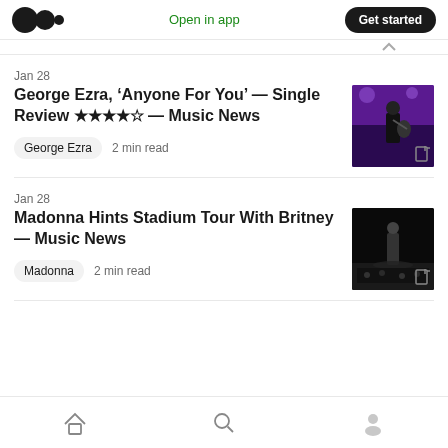Medium logo | Open in app | Get started
Jan 28
George Ezra, ‘Anyone For You’ — Single Review ★★★★☆ — Music News
[Figure (photo): Photo of George Ezra performing on stage with a guitar under purple stage lighting]
George Ezra  2 min read
Jan 28
Madonna Hints Stadium Tour With Britney — Music News
[Figure (photo): Dark concert photo of a performer on stage]
Madonna  2 min read
Home | Search | Profile